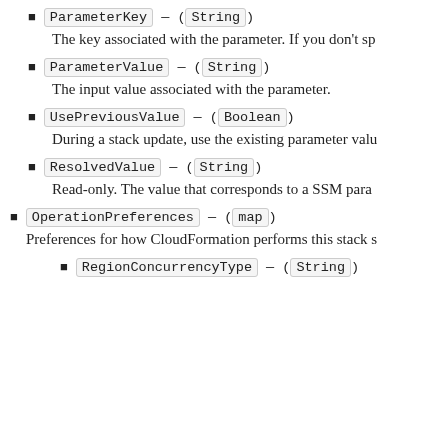ParameterKey — (String)
The key associated with the parameter. If you don't sp
ParameterValue — (String)
The input value associated with the parameter.
UsePreviousValue — (Boolean)
During a stack update, use the existing parameter valu
ResolvedValue — (String)
Read-only. The value that corresponds to a SSM para
OperationPreferences — (map)
Preferences for how CloudFormation performs this stack s
RegionConcurrencyType — (String)